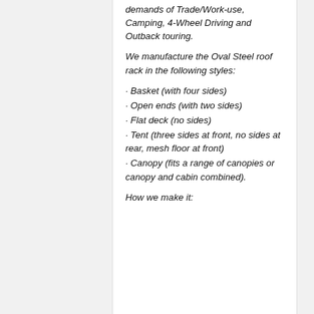demands of Trade/Work-use, Camping, 4-Wheel Driving and Outback touring.
We manufacture the Oval Steel roof rack in the following styles:
· Basket (with four sides)
· Open ends (with two sides)
· Flat deck (no sides)
· Tent (three sides at front, no sides at rear, mesh floor at front)
· Canopy (fits a range of canopies or canopy and cabin combined).
How we make it: